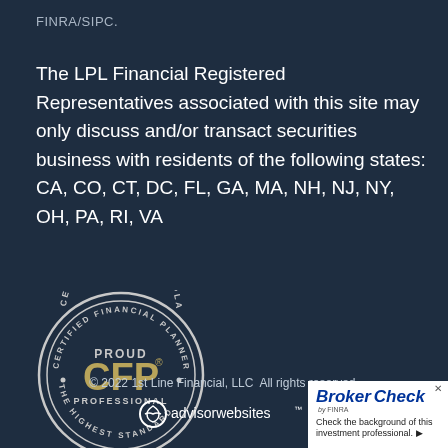FINRA/SIPC.
The LPL Financial Registered Representatives associated with this site may only discuss and/or transact securities business with residents of the following states: CA, CO, CT, DC, FL, GA, MA, NH, NJ, NY, OH, PA, RI, VA
[Figure (logo): Proud CFP Professional - Certified Financial Planner - The Highest Standard circular badge with gold CFP text]
© 2022 1st Line Financial, LLC All rights reserved.
[Figure (logo): AdvisorWebsites logo with circular icon]
[Figure (logo): BrokerCheck by FINRA badge - Check the background of this investment professional.]